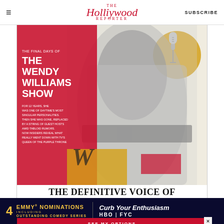The Hollywood Reporter | SUBSCRIBE
[Figure (illustration): Magazine cover for The Hollywood Reporter showing 'The Final Days of The Wendy Williams Show'. Features a black-and-white photo of a woman in a grey outfit with a wide belt, overlaid with red and gold graphic design elements, a microphone, and text reading: THE FINAL DAYS OF THE WENDY WILLIAMS SHOW. FOR 12 YEARS, SHE WAS ONE OF DAYTIME'S MOST SINGULAR PERSONALITIES. THEN SHE WAS GONE, REPLACED BY A STRING OF GUEST HOSTS AMID TABLOID RUMORS. NOW INSIDERS REVEAL WHAT REALLY WENT DOWN WITH TV'S QUEEN OF THE PURPLE THRONE]
THE DEFINITIVE VOICE OF ENTERTAINMENT NEWS
Subscribe for full access to The Hollywood Reporter
SEE MY OPTIONS
[Figure (infographic): Ad banner: 4 EMMY NOMINATIONS INCLUDING OUTSTANDING COMEDY SERIES | Curb Your Enthusiasm | HBO FYC]